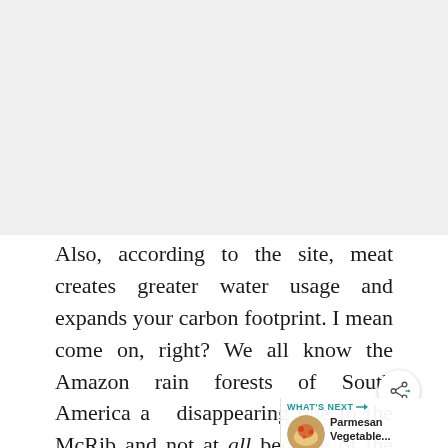[Figure (other): Gray blank/image area at top of page (image content not visible)]
Also, according to the site, meat creates greater water usage and expands your carbon footprint. I mean come on, right? We all know the Amazon rain forests of South America are disappearing due to the McRib and not at all because of the expansion of farming soybeans (link) or ethanol production in countries like Brazil (link). Right?